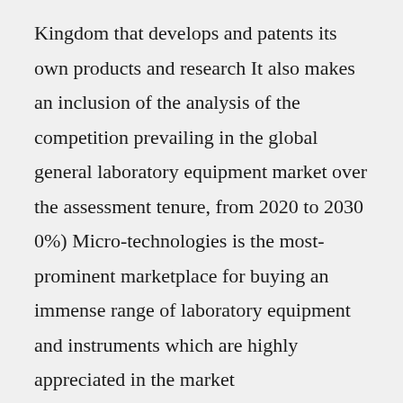Kingdom that develops and patents its own products and research It also makes an inclusion of the analysis of the competition prevailing in the global general laboratory equipment market over the assessment tenure, from 2020 to 2030 0%) Micro-technologies is the most-prominent marketplace for buying an immense range of laboratory equipment and instruments which are highly appreciated in the market